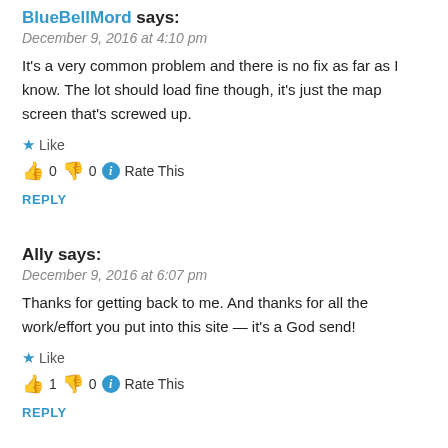BlueBellMord says:
December 9, 2016 at 4:10 pm
It's a very common problem and there is no fix as far as I know. The lot should load fine though, it's just the map screen that's screwed up.
Like
👍 0 👎 0 ℹ Rate This
REPLY
Ally says:
December 9, 2016 at 6:07 pm
Thanks for getting back to me. And thanks for all the work/effort you put into this site — it's a God send!
Like
👍 1 👎 0 ℹ Rate This
REPLY